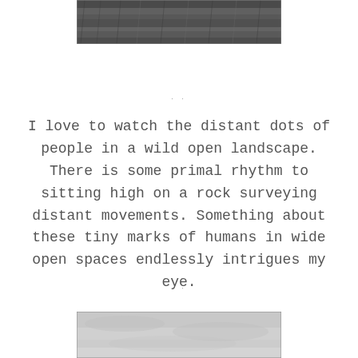[Figure (photo): Black and white photograph of dense wild vegetation or moss, cropped at top of page]
I love to watch the distant dots of people in a wild open landscape. There is some primal rhythm to sitting high on a rock surveying distant movements. Something about these tiny marks of humans in wide open spaces endlessly intrigues my eye.
[Figure (photo): Black and white photograph of a cloudy sky or misty landscape, cropped at bottom of page]